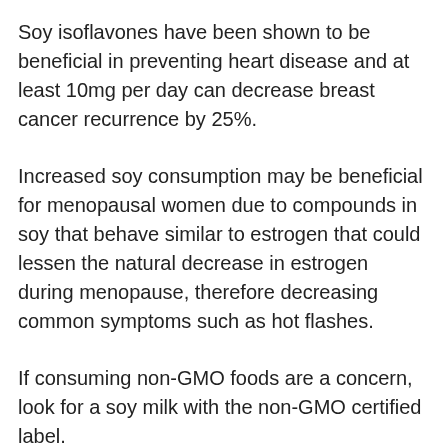Soy isoflavones have been shown to be beneficial in preventing heart disease and at least 10mg per day can decrease breast cancer recurrence by 25%.
Increased soy consumption may be beneficial for menopausal women due to compounds in soy that behave similar to estrogen that could lessen the natural decrease in estrogen during menopause, therefore decreasing common symptoms such as hot flashes.
If consuming non-GMO foods are a concern, look for a soy milk with the non-GMO certified label.
Almond milk